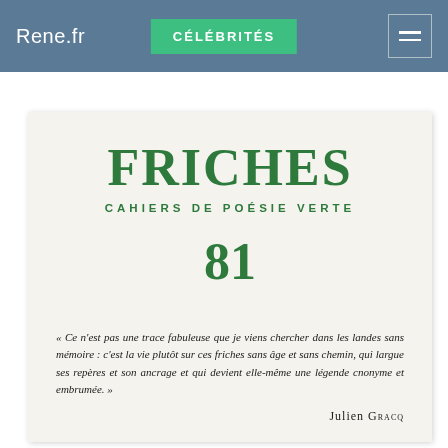Rene.fr   CÉLÉBRITÉS
10 EUR
[Figure (photo): Cover of Friches — Cahiers de Poésie Verte, issue 81, with a quote by Julien Gracq in italic. Cream/off-white background, green typography.]
FRICHES
CAHIERS DE POÉSIE VERTE
81
« Ce n'est pas une trace fabuleuse que je viens chercher dans les landes sans mémoire : c'est la vie plutôt sur ces friches sans âge et sans chemin, qui largue ses repères et son ancrage et qui devient elle-même une légende cnonyme et embrumée. »
Julien Gracq